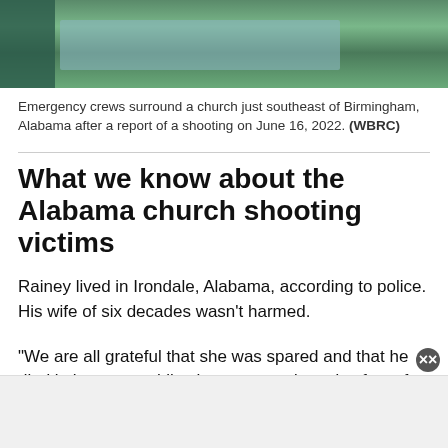[Figure (photo): Emergency crews surrounding a church just southeast of Birmingham, Alabama, aerial or street view showing road and green surroundings]
Emergency crews surround a church just southeast of Birmingham, Alabama after a report of a shooting on June 16, 2022. (WBRC)
What we know about the Alabama church shooting victims
Rainey lived in Irondale, Alabama, according to police. His wife of six decades wasn’t harmed.
"We are all grateful that she was spared and that he died in her arms while she murmured words of comfort and love into his ears," Rainey’s family said in a